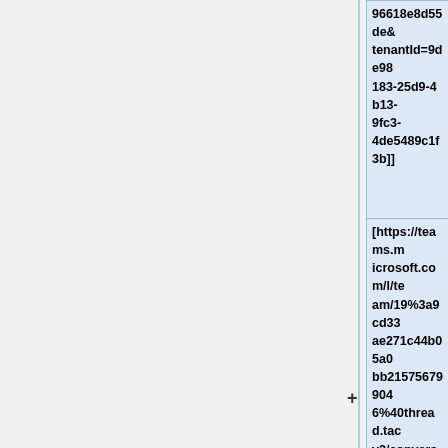96618e8d55de&tenantId=9de98183-25d9-4b13-9fc3-4de5489c1f3b]]
[https://teams.microsoft.com/l/team/19%3a9cd33ae271c44b05a0bb215756799046%40thread.tacv2/conversations?groupId=0a9df3b1-37bc-4544-a5c0-96618e8d55de&tenantId=9de98183-25d9-4b13-9fc3-4de5489c1f3b Microsoft Teams]